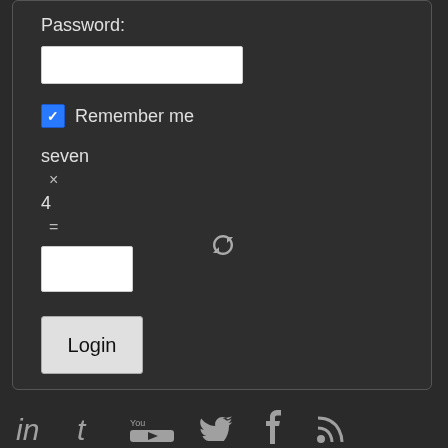Password:
[Figure (screenshot): Password input field (white rectangle)]
Remember me
seven
×
4
[Figure (other): Refresh/reload icon (circular arrows)]
=
[Figure (screenshot): Captcha answer input field (white rectangle)]
Login
[Figure (other): Social media icons row: LinkedIn, Tumblr, YouTube, Twitter, Facebook, RSS]